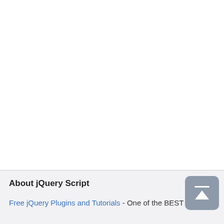About jQuery Script
Free jQuery Plugins and Tutorials - One of the BEST jQuery